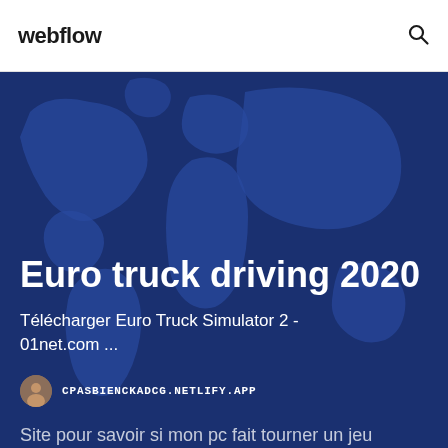webflow
[Figure (illustration): Dark blue world map background for hero section]
Euro truck driving 2020
Télécharger Euro Truck Simulator 2 - 01net.com ...
CPASBIENCKADCG.NETLIFY.APP
Site pour savoir si mon pc fait tourner un jeu